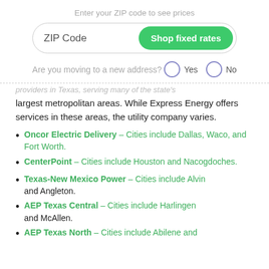Enter your ZIP code to see prices
ZIP Code  Shop fixed rates
Are you moving to a new address?  Yes  No
largest metropolitan areas. While Express Energy offers services in these areas, the utility company varies.
Oncor Electric Delivery – Cities include Dallas, Waco, and Fort Worth.
CenterPoint  – Cities include Houston and Nacogdoches.
Texas-New Mexico Power – Cities include Alvin and Angleton.
AEP Texas Central – Cities include Harlingen and McAllen.
AEP Texas North – Cities include Abilene and